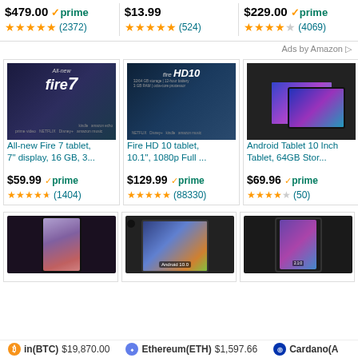$479.00 prime (2372) | $13.99 (524) | $229.00 prime (4069)
Ads by Amazon
[Figure (screenshot): All-new Fire 7 tablet product image showing tablet with pink cover]
All-new Fire 7 tablet, 7" display, 16 GB, 3... $59.99 prime (1404)
[Figure (screenshot): Fire HD 10 tablet product image showing tablet in dark cover with Office logo]
Fire HD 10 tablet, 10.1", 1080p Full ... $129.99 prime (88330)
[Figure (screenshot): Android Tablet 10 Inch product image showing two tablets with colorful abstract screen]
Android Tablet 10 Inch Tablet, 64GB Stor... $69.96 prime (50)
[Figure (screenshot): Samsung Galaxy tablet in partial view]
[Figure (screenshot): CT Android 10.0 tablet product image]
[Figure (screenshot): Tablet with case product image]
Bitcoin(BTC) $19,870.00 | Ethereum(ETH) $1,597.66 | Cardano(AL